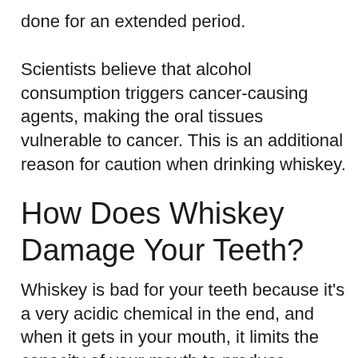done for an extended period.
Scientists believe that alcohol consumption triggers cancer-causing agents, making the oral tissues vulnerable to cancer. This is an additional reason for caution when drinking whiskey.
How Does Whiskey Damage Your Teeth?
Whiskey is bad for your teeth because it's a very acidic chemical in the end, and when it gets in your mouth, it limits the capacity of your mouth to produce